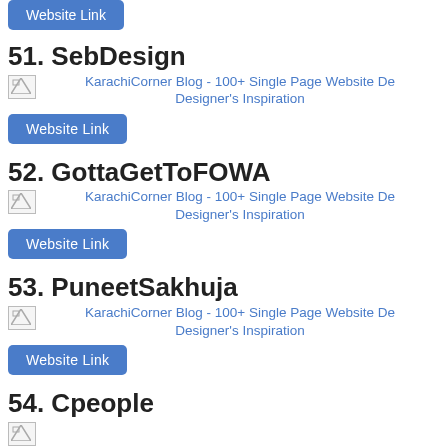[Figure (other): Website link button (blue) at top, partially visible]
51. SebDesign
[Figure (other): Broken image placeholder with caption: KarachiCorner Blog - 100+ Single Page Website De... Designer's Inspiration]
Website Link
52. GottaGetToFOWA
[Figure (other): Broken image placeholder with caption: KarachiCorner Blog - 100+ Single Page Website De... Designer's Inspiration]
Website Link
53. PuneetSakhuja
[Figure (other): Broken image placeholder with caption: KarachiCorner Blog - 100+ Single Page Website De... Designer's Inspiration]
Website Link
54. Cpeople
[Figure (other): Broken image placeholder, partially visible at bottom]